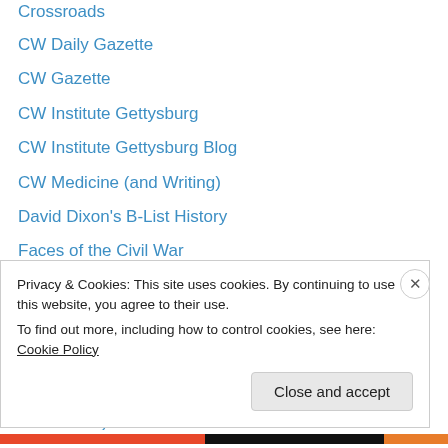Crossroads
CW Daily Gazette
CW Gazette
CW Institute Gettysburg
CW Institute Gettysburg Blog
CW Medicine (and Writing)
David Dixon's B-List History
Faces of the Civil War
Foxessa's Fox Home
Frederick Douglass' Washington
Fredericksburg Remembered
Freedmen's Patrol
Freedom by the Sword
From the Fields of Gettysburg
Privacy & Cookies: This site uses cookies. By continuing to use this website, you agree to their use.
To find out more, including how to control cookies, see here: Cookie Policy
Close and accept